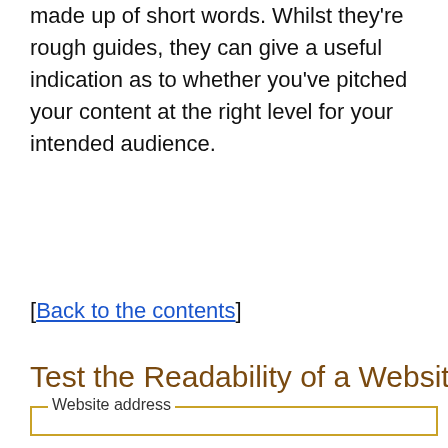made up of short words. Whilst they're rough guides, they can give a useful indication as to whether you've pitched your content at the right level for your intended audience.
[Back to the contents]
Test the Readability of a Website
[Figure (other): Web form with fieldset labeled 'Website address' containing a URI label, a text input pre-filled with 'http://slotgamesonline.org', and a 'Calculate Readability' button.]